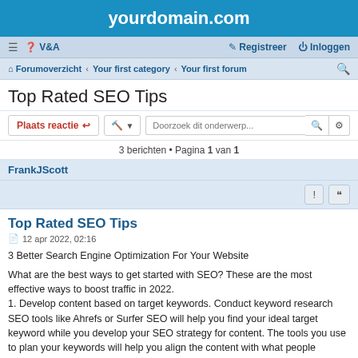yourdomain.com
≡  ? V&A    ✎ Registreer  ⏻ Inloggen
Forumoverzicht · Your first category · Your first forum
Top Rated SEO Tips
Plaats reactie  🔧 ▾  Doorzoek dit onderwerp...  🔍  ⚙
3 berichten • Pagina 1 van 1
FrankJScott
Top Rated SEO Tips
12 apr 2022, 02:16
3 Better Search Engine Optimization For Your Website
What are the best ways to get started with SEO? These are the most effective ways to boost traffic in 2022.
1. Develop content based on target keywords. Conduct keyword research SEO tools like Ahrefs or Surfer SEO will help you find your ideal target keyword while you develop your SEO strategy for content. The tools you use to plan your keywords will help you align the content with what people